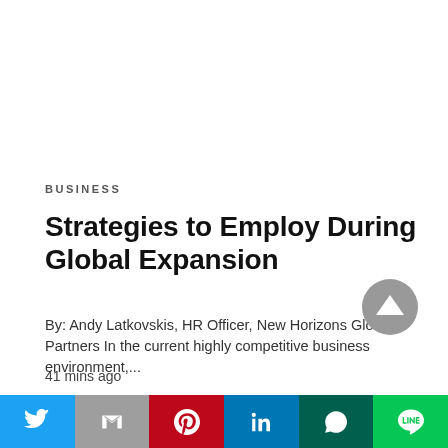BUSINESS
Strategies to Employ During Global Expansion
By: Andy Latkovskis, HR Officer, New Horizons Global Partners In the current highly competitive business environment,...
41 mins ago
[Figure (other): Scroll-to-top button: dark grey circle with white upward triangle arrow]
[Figure (other): Social sharing bar with six buttons: Twitter (blue), Gmail (grey), Pinterest (red), LinkedIn (blue), WhatsApp (dark teal), LINE (green)]